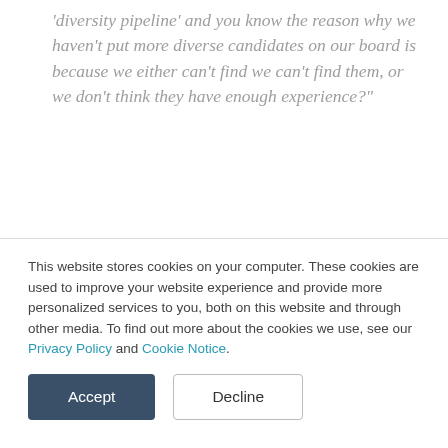'diversity pipeline' and you know the reason why we haven't put more diverse candidates on our board is because we either can't find we can't find them, or we don't think they have enough experience?"
How are we going to get people in some of these roles that historically have been subject to systemic racism and haven't had the opportunities to get necessarily the 'experience' on paper that maybe others do?
So I think it's a complicated question. There certainly
This website stores cookies on your computer. These cookies are used to improve your website experience and provide more personalized services to you, both on this website and through other media. To find out more about the cookies we use, see our Privacy Policy and Cookie Notice.